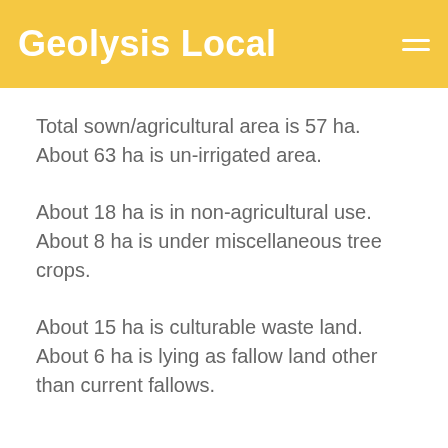Geolysis Local
Total sown/agricultural area is 57 ha. About 63 ha is un-irrigated area.
About 18 ha is in non-agricultural use. About 8 ha is under miscellaneous tree crops.
About 15 ha is culturable waste land. About 6 ha is lying as fallow land other than current fallows.